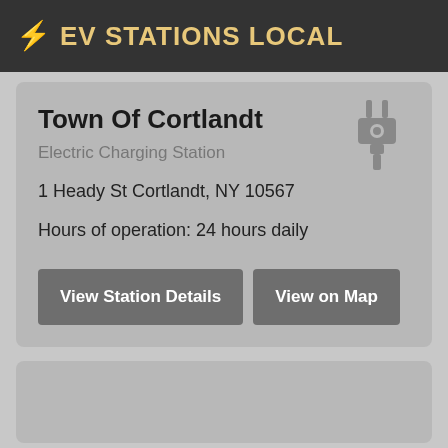⚡ EV STATIONS LOCAL
Town Of Cortlandt
Electric Charging Station
1 Heady St Cortlandt, NY 10567
Hours of operation: 24 hours daily
[Figure (illustration): Electric plug/charger icon in gray]
View Station Details
View on Map